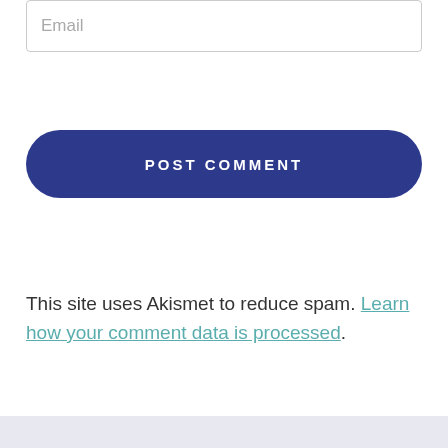Email
POST COMMENT
This site uses Akismet to reduce spam. Learn how your comment data is processed.